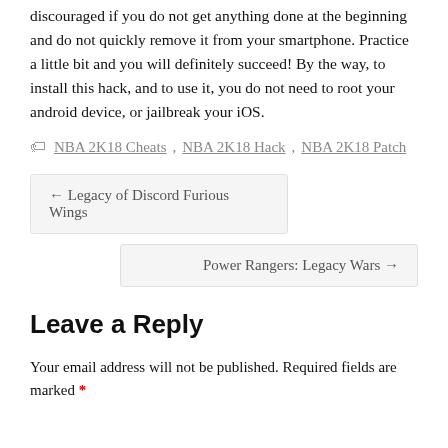discouraged if you do not get anything done at the beginning and do not quickly remove it from your smartphone. Practice a little bit and you will definitely succeed! By the way, to install this hack, and to use it, you do not need to root your android device, or jailbreak your iOS.
NBA 2K18 Cheats, NBA 2K18 Hack, NBA 2K18 Patch
← Legacy of Discord Furious Wings
Power Rangers: Legacy Wars →
Leave a Reply
Your email address will not be published. Required fields are marked *